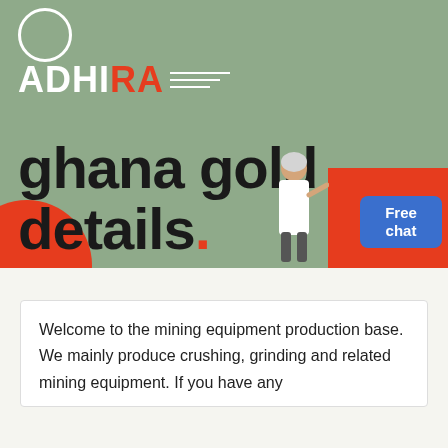[Figure (illustration): Hero banner with sage green background, ADHIRA logo in white and red, decorative red circle, large bold title 'ghana gold details.' with red period, a red rectangle in bottom right, a person figure, and a blue 'Free chat' button]
ghana gold details.
Welcome to the mining equipment production base. We mainly produce crushing, grinding and related mining equipment. If you have any